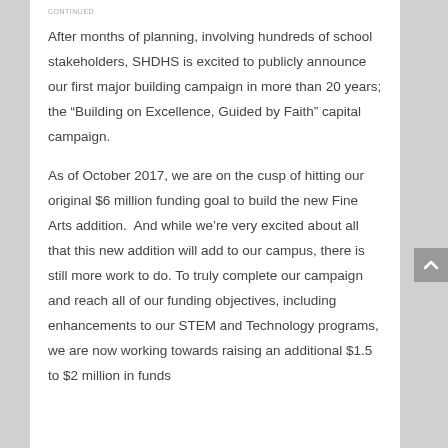CONTINUED
After months of planning, involving hundreds of school stakeholders, SHDHS is excited to publicly announce our first major building campaign in more than 20 years; the “Building on Excellence, Guided by Faith” capital campaign.
As of October 2017, we are on the cusp of hitting our original $6 million funding goal to build the new Fine Arts addition.  And while we’re very excited about all that this new addition will add to our campus, there is still more work to do. To truly complete our campaign and reach all of our funding objectives, including enhancements to our STEM and Technology programs, we are now working towards raising an additional $1.5 to $2 million in funds